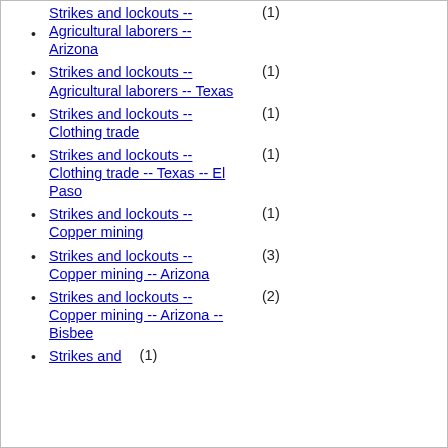Strikes and lockouts -- Agricultural laborers -- Arizona (1)
Strikes and lockouts -- Agricultural laborers -- Texas (1)
Strikes and lockouts -- Clothing trade (1)
Strikes and lockouts -- Clothing trade -- Texas -- El Paso (1)
Strikes and lockouts -- Copper mining (1)
Strikes and lockouts -- Copper mining -- Arizona (3)
Strikes and lockouts -- Copper mining -- Arizona -- Bisbee (2)
Strikes and lockouts (1)